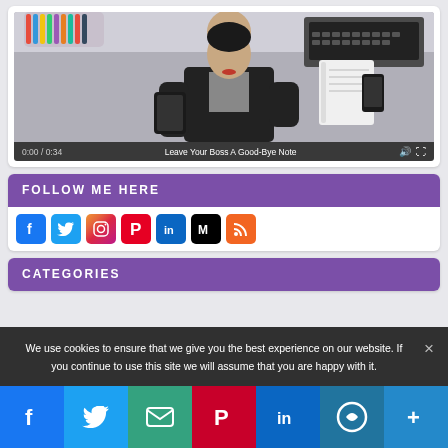[Figure (screenshot): Video thumbnail showing a woman in a black blazer holding a tablet, with the video title 'Leave Your Boss A Good-Bye Note', timestamp 0:00/0:34]
FOLLOW ME HERE
[Figure (infographic): Social media icons: Facebook, Twitter, Instagram, Pinterest, LinkedIn, Medium, RSS]
CATEGORIES
We use cookies to ensure that we give you the best experience on our website. If you continue to use this site we will assume that you are happy with it.
[Figure (infographic): Bottom share bar with icons: Facebook, Twitter, Email, Pinterest, LinkedIn, WordPress, More]